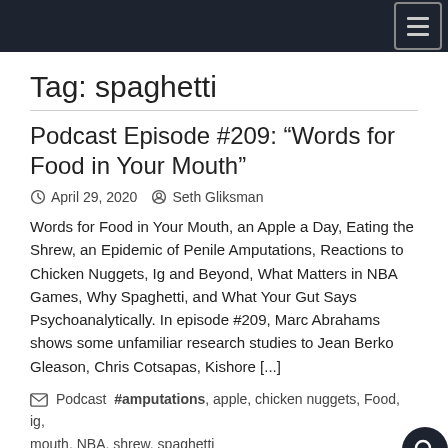Tag: spaghetti
Podcast Episode #209: “Words for Food in Your Mouth”
April 29, 2020   Seth Gliksman
Words for Food in Your Mouth, an Apple a Day, Eating the Shrew, an Epidemic of Penile Amputations, Reactions to Chicken Nuggets, Ig and Beyond, What Matters in NBA Games, Why Spaghetti, and What Your Gut Says Psychoanalytically. In episode #209, Marc Abrahams shows some unfamiliar research studies to Jean Berko Gleason, Chris Cotsapas, Kishore [...]
Podcast  #amputations, apple, chicken nuggets, Food, ig, mouth, NBA, shrew, spaghetti